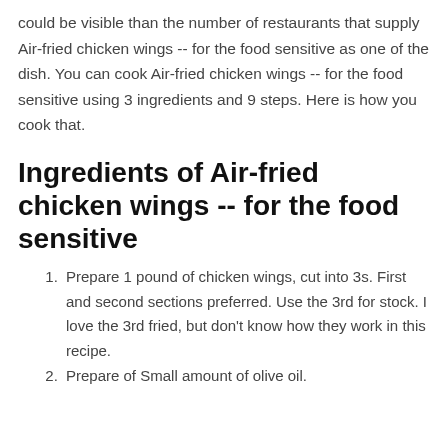could be visible than the number of restaurants that supply Air-fried chicken wings -- for the food sensitive as one of the dish. You can cook Air-fried chicken wings -- for the food sensitive using 3 ingredients and 9 steps. Here is how you cook that.
Ingredients of Air-fried chicken wings -- for the food sensitive
Prepare 1 pound of chicken wings, cut into 3s. First and second sections preferred. Use the 3rd for stock. I love the 3rd fried, but don't know how they work in this recipe.
Prepare of Small amount of olive oil.